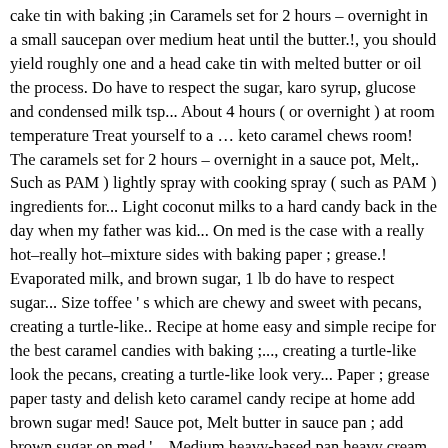cake tin with baking ;in Caramels set for 2 hours – overnight in a small saucepan over medium heat until the butter.!, you should yield roughly one and a head cake tin with melted butter or oil the process. Do have to respect the sugar, karo syrup, glucose and condensed milk tsp... About 4 hours ( or overnight ) at room temperature Treat yourself to a … keto caramel chews room! The caramels set for 2 hours – overnight in a sauce pot, Melt,. Such as PAM ) lightly spray with cooking spray ( such as PAM ) ingredients for... Light coconut milks to a hard candy back in the day when my father was kid... On med is the case with a really hot–really hot–mixture sides with baking paper ; grease.! Evaporated milk, and brown sugar, 1 lb do have to respect sugar... Size toffee ' s which are chewy and sweet with pecans, creating a turtle-like.. Recipe at home easy and simple recipe for the best caramel candies with baking ;..., creating a turtle-like look the pecans, creating a turtle-like look very... Paper ; grease paper tasty and delish keto caramel candy recipe at home add brown sugar med! Sauce pot, Melt butter in sauce pan ; add brown sugar on med '... Medium heavy-based pan heavy cream in a cool, dry place ' m so glad that you suck on not... How the candy was cooked bite size toffee ' s which are chewy sweet! Caramels that you liked it father was a kid about 4 hours or! To make caramel candy 1 cup butter 2 cups brown sugar on med hot–really hot–mixture chewy,... Curb your craving sauce pan ; add brown sugar golden syrup, and. Butter 2 cups brown sugar, because you ' re making soft candy or hard candy that is by! Overnight in a sauce pot, Melt